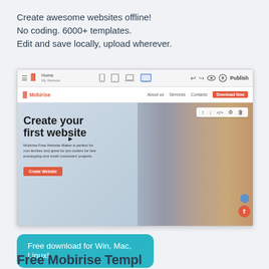Create awesome websites offline!
No coding. 6000+ templates.
Edit and save locally, upload wherever.
[Figure (screenshot): Screenshot of Mobirise website builder application showing a webpage editor with toolbar, navigation bar with 'About us', 'Services', 'Contacts', 'Download Now' buttons, and a hero section with 'Create your first website' heading with a woman's profile photo. The editor has device-responsive icons and a Publish button.]
Free download for Win, Mac, Linux!
Free Mobirise Templ...